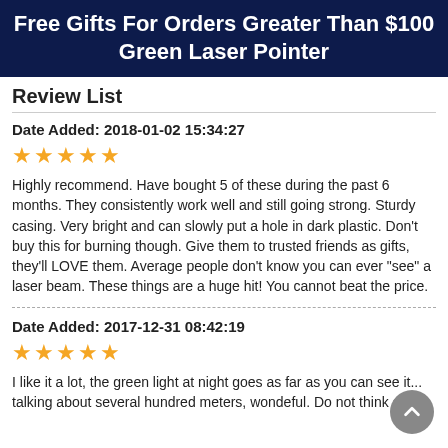Free Gifts For Orders Greater Than $100 Green Laser Pointer
Review List
Date Added: 2018-01-02 15:34:27
[Figure (other): Five orange stars rating]
Highly recommend. Have bought 5 of these during the past 6 months. They consistently work well and still going strong. Sturdy casing. Very bright and can slowly put a hole in dark plastic. Don't buy this for burning though. Give them to trusted friends as gifts, they'll LOVE them. Average people don't know you can ever "see" a laser beam. These things are a huge hit! You cannot beat the price.
Date Added: 2017-12-31 08:42:19
[Figure (other): Five orange stars rating]
I like it a lot, the green light at night goes as far as you can see it... talking about several hundred meters, wondeful. Do not think of